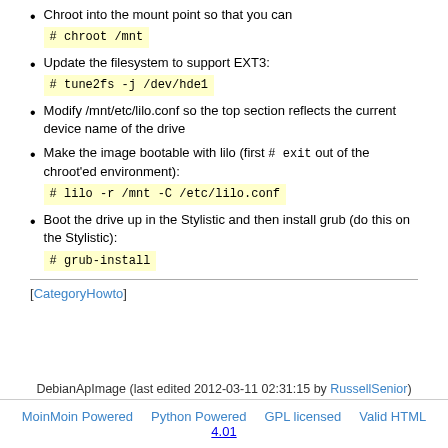Chroot into the mount point so that you can
# chroot /mnt
Update the filesystem to support EXT3:
# tune2fs -j /dev/hde1
Modify /mnt/etc/lilo.conf so the top section reflects the current device name of the drive
Make the image bootable with lilo (first # exit out of the chroot'ed environment):
# lilo -r /mnt -C /etc/lilo.conf
Boot the drive up in the Stylistic and then install grub (do this on the Stylistic):
# grub-install
[CategoryHowto]
DebianApImage (last edited 2012-03-11 02:31:15 by RussellSenior)
MoinMoin Powered   Python Powered   GPL licensed   Valid HTML 4.01